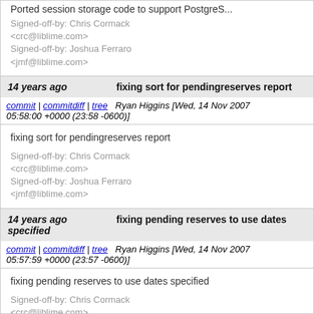Ported session storage code to support PostgreS...

Signed-off-by: Chris Cormack <crc@liblime.com>
Signed-off-by: Joshua Ferraro <jmf@liblime.com>
14 years ago   fixing sort for pendingreserves report
commit | commitdiff | tree   Ryan Higgins [Wed, 14 Nov 2007 05:58:00 +0000 (23:58 -0600)]
fixing sort for pendingreserves report

Signed-off-by: Chris Cormack <crc@liblime.com>
Signed-off-by: Joshua Ferraro <jmf@liblime.com>
14 years ago   fixing pending reserves to use dates specified
commit | commitdiff | tree   Ryan Higgins [Wed, 14 Nov 2007 05:57:59 +0000 (23:57 -0600)]
fixing pending reserves to use dates specified

Signed-off-by: Chris Cormack <crc@liblime.com>
Signed-off-by: Joshua Ferraro <jmf@liblime.com>